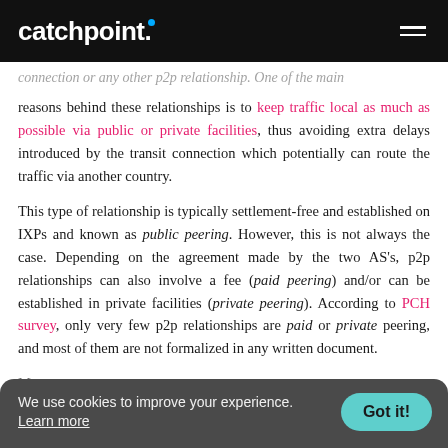catchpoint.
connection or any other p2p relationship. One of the main reasons behind these relationships is to keep traffic local as much as possible via public or private facilities, thus avoiding extra delays introduced by the transit connection which potentially can route the traffic via another country.
This type of relationship is typically settlement-free and established on IXPs and known as public peering. However, this is not always the case. Depending on the agreement made by the two AS's, p2p relationships can also involve a fee (paid peering) and/or can be established in private facilities (private peering). According to PCH survey, only very few p2p relationships are paid or private peering, and most of them are not formalized in any written document.
M...
We use cookies to improve your experience. Learn more
(